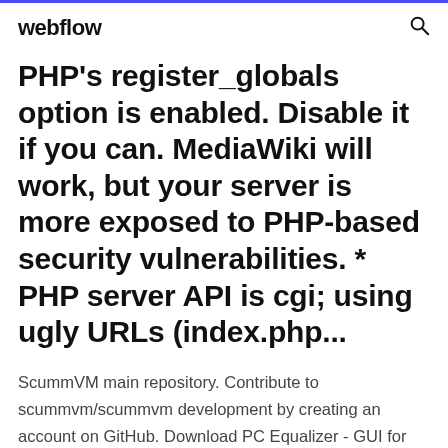webflow
PHP's register_globals option is enabled. Disable it if you can. MediaWiki will work, but your server is more exposed to PHP-based security vulnerabilities. * PHP server API is cgi; using ugly URLs (index.php...
ScummVM main repository. Contribute to scummvm/scummvm development by creating an account on GitHub. Download PC Equalizer - GUI for free. GUI for Equalizer APO. PC Equalizer is a Graphical User Interface for "Equalizer APO" which is a parametric / graphic equalizer for Windows. Designed for the...